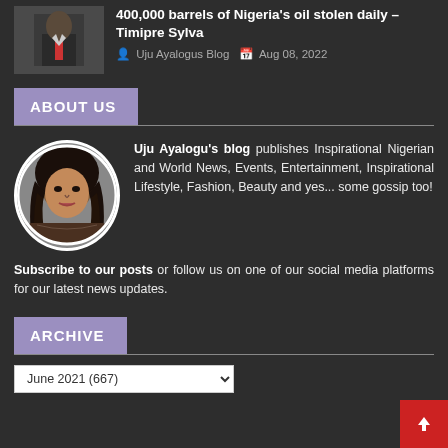400,000 barrels of Nigeria's oil stolen daily – Timipre Sylva
Uju Ayalogus Blog  Aug 08, 2022
ABOUT US
[Figure (photo): Circular portrait photo of a woman with long wavy dark hair]
Uju Ayalogu's blog publishes Inspirational Nigerian and World News, Events, Entertainment, Inspirational Lifestyle, Fashion, Beauty and yes... some gossip too!
Subscribe to our posts or follow us on one of our social media platforms for our latest news updates.
ARCHIVE
June 2021 (667)